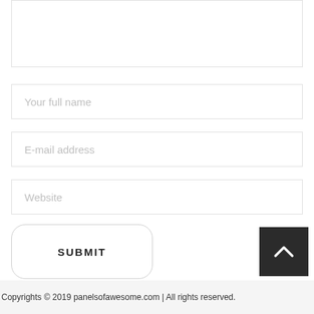[Figure (other): Textarea input field (empty, with border)]
Your full name
E-mail address
Website
SUBMIT
[Figure (other): Back to top button — dark square with upward chevron arrow]
Copyrights © 2019 panelsofawesome.com | All rights reserved.